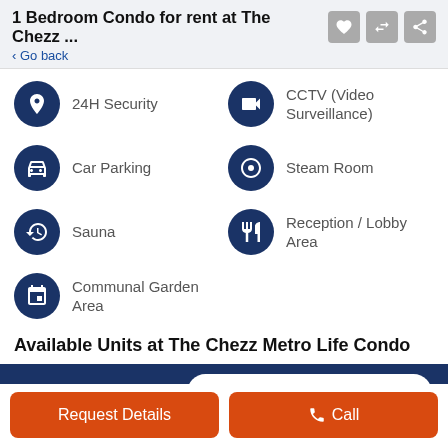1 Bedroom Condo for rent at The Chezz ...
< Go back
24H Security
CCTV (Video Surveillance)
Car Parking
Steam Room
Sauna
Reception / Lobby Area
Communal Garden Area
Available Units at The Chezz Metro Life Condo
For Sale 6
For Rent 5
Request Details
Call